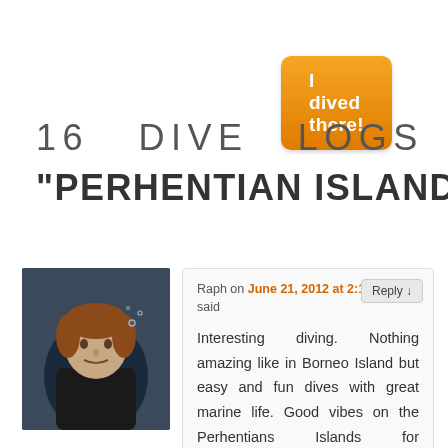[Figure (other): Orange rounded button labeled 'I dived there!']
16 DIVE LOGS IN
"PERHENTIAN ISLANDS"
[Figure (photo): Avatar photo of a man underwater while scuba diving]
Raph on June 21, 2012 at 2:14 pm said
Interesting diving. Nothing amazing like in Borneo Island but easy and fun dives with great marine life. Good vibes on the Perhentians Islands for backpackers.